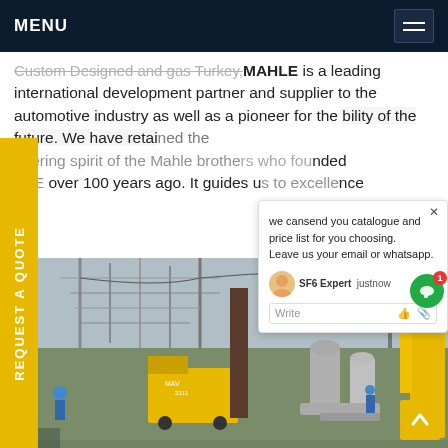MENU
Custom Designed and gas Turkey,MAHLE is a leading international development partner and supplier to the automotive industry as well as a pioneer for the bility of the future. We have retained the neering spirit of the Mahle brothers who founded HLE over 100 years ago. It guides us to excellence
REQUEST A QUOTE
we cansend you catalogue and price list for you choosing.
Leave us your email or whatsapp.
SF6 Expert    justnow
Write
[Figure (photo): Electrical substation with high-voltage equipment, yellow truck/crane, workers in blue helmets, power transmission towers in background]